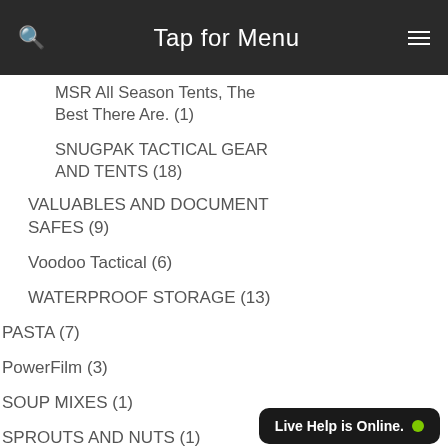Tap for Menu
MSR All Season Tents, The Best There Are. (1)
SNUGPAK TACTICAL GEAR AND TENTS (18)
VALUABLES AND DOCUMENT SAFES (9)
Voodoo Tactical (6)
WATERPROOF STORAGE (13)
PASTA (7)
PowerFilm (3)
SOUP MIXES (1)
SPROUTS AND NUTS (1)
TVP MEATS (2)
Uncategorized (308)